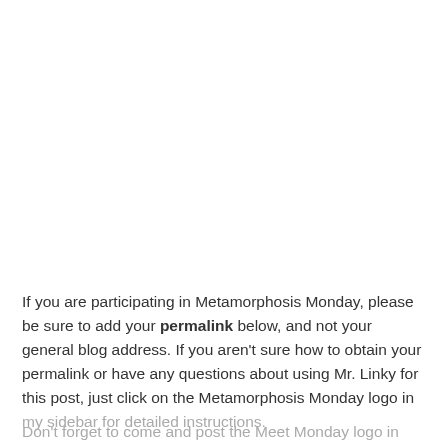If you are participating in Metamorphosis Monday, please be sure to add your permalink below, and not your general blog address. If you aren't sure how to obtain your permalink or have any questions about using Mr. Linky for this post, just click on the Metamorphosis Monday logo in my sidebar for detailed instructions.
Don't forget to come and post the Meet Monday logo...